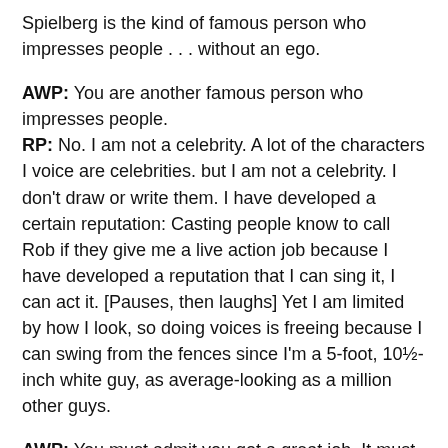Spielberg is the kind of famous person who impresses people . . . without an ego.
AWP: You are another famous person who impresses people. RP: No. I am not a celebrity. A lot of the characters I voice are celebrities. but I am not a celebrity. I don't draw or write them. I have developed a certain reputation: Casting people know to call Rob if they give me a live action job because I have developed a reputation that I can sing it, I can act it. [Pauses, then laughs] Yet I am limited by how I look, so doing voices is freeing because I can swing from the fences since I'm a 5-foot, 10½-inch white guy, as average-looking as a million other guys.
AWP: You must admit you got a great job. It must get tough changing your voice so many times. RP: No. A job is what blue-collar men do. Pouring hot tar in July is a tough job. Laying sod on a farm is a tough job. Working on a conveyor belt in a factory is hard work. My job is like freedom . . . I get to do what I want with my voice; my